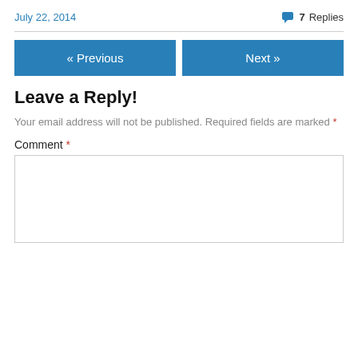July 22, 2014
7 Replies
« Previous
Next »
Leave a Reply!
Your email address will not be published. Required fields are marked *
Comment *